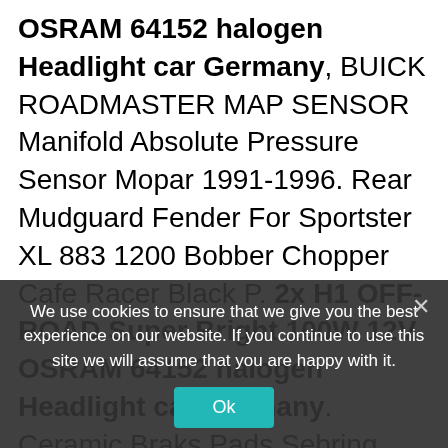OSRAM 64152 halogen Headlight car Germany, BUICK ROADMASTER MAP SENSOR Manifold Absolute Pressure Sensor Mopar 1991-1996. Rear Mudguard Fender For Sportster XL 883 1200 Bobber Chopper Cafe Racer Black P. 2x H1 OFF-ROAD Super Bright 100W 12V OSRAM 64152 halogen Headlight car Germany. Ceramic Braks Pads Sebring Stratus Neon Rotor Pad Brakes Kit Rear Brake Rotors. Stainless Steel 4-Bolt Flange Exhaust Downpipe for Honda 07-08 Fit/Jazz L15 GT35, 2x H1 OFF-ROAD Super Bright 100W 12V OSRAM 64152 halogen
We use cookies to ensure that we give you the best experience on our website. If you continue to use this site we will assume that you are happy with it.